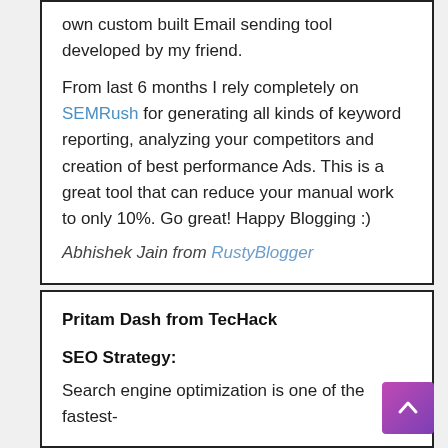own custom built Email sending tool developed by my friend.
From last 6 months I rely completely on SEMRush for generating all kinds of keyword reporting, analyzing your competitors and creation of best performance Ads. This is a great tool that can reduce your manual work to only 10%. Go great! Happy Blogging :)
Abhishek Jain from RustyBlogger
Pritam Dash from TecHack
SEO Strategy:
Search engine optimization is one of the fastest-